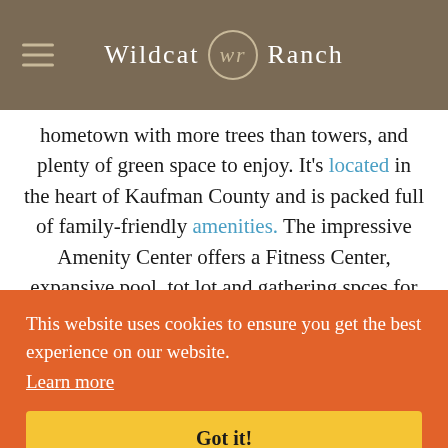Wildcat Ranch
hometown with more trees than towers, and plenty of green space to enjoy. It's located in the heart of Kaufman County and is packed full of family-friendly amenities. The impressive Amenity Center offers a Fitness Center, expansive pool, tot lot and gathering spaces for special events. There is something for every
This website uses cookies to ensure you get the best experience on our website. Learn more
Got it!
offers incredible value with homes priced from the